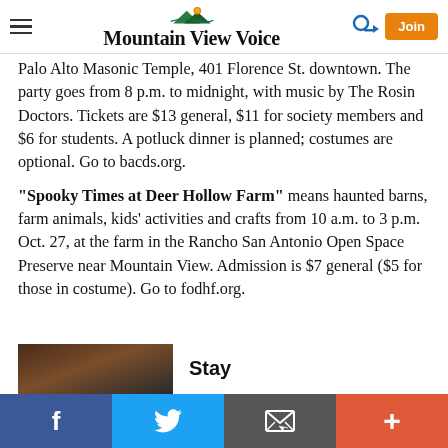Mountain View Voice
Palo Alto Masonic Temple, 401 Florence St. downtown. The party goes from 8 p.m. to midnight, with music by The Rosin Doctors. Tickets are $13 general, $11 for society members and $6 for students. A potluck dinner is planned; costumes are optional. Go to bacds.org.
"Spooky Times at Deer Hollow Farm" means haunted barns, farm animals, kids' activities and crafts from 10 a.m. to 3 p.m. Oct. 27, at the farm in the Rancho San Antonio Open Space Preserve near Mountain View. Admission is $7 general ($5 for those in costume). Go to fodhf.org.
[Figure (photo): Partial photo thumbnail at bottom of page, with 'Stay' heading next to it]
Social share bar: Facebook, Twitter, Email, Plus